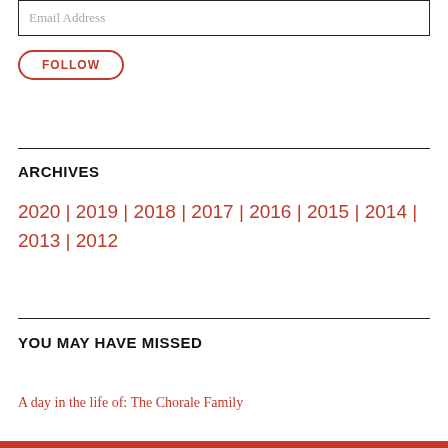Email Address
FOLLOW
ARCHIVES
2020 | 2019 | 2018 | 2017 | 2016 | 2015 | 2014 | 2013 | 2012
YOU MAY HAVE MISSED
A day in the life of: The Chorale Family